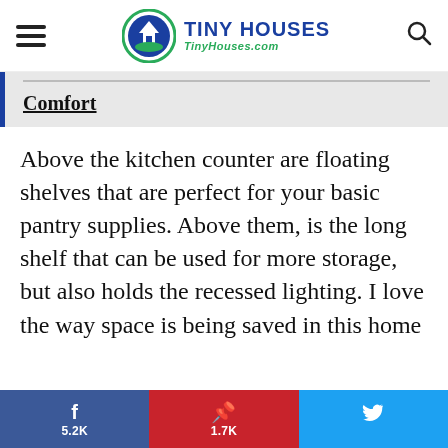TINY HOUSES TinyHouses.com
Comfort
Above the kitchen counter are floating shelves that are perfect for your basic pantry supplies. Above them, is the long shelf that can be used for more storage, but also holds the recessed lighting. I love the way space is being saved in this home
f 5.2K | P 1.7K | Twitter